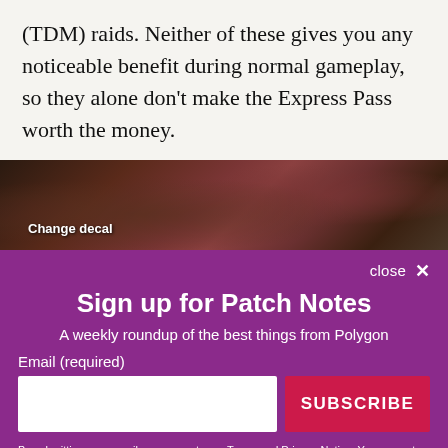(TDM) raids. Neither of these gives you any noticeable benefit during normal gameplay, so they alone don’t make the Express Pass worth the money.
[Figure (screenshot): A dark-toned game screenshot with text overlay reading 'Change decal']
close ×
Sign up for Patch Notes
A weekly roundup of the best things from Polygon
Email (required)
SUBSCRIBE
By submitting your email, you agree to our Terms and Privacy Notice. You can opt out at any time. This site is protected by reCAPTCHA and the Google Privacy Policy and Terms of Service apply.